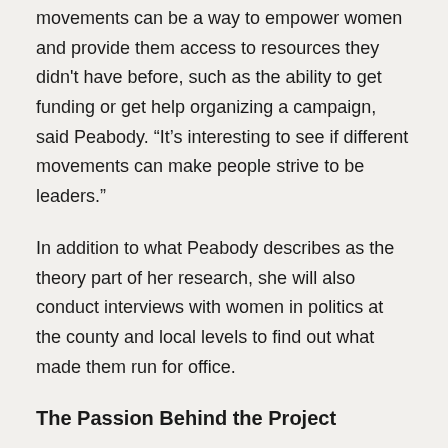movements can be a way to empower women and provide them access to resources they didn't have before, such as the ability to get funding or get help organizing a campaign, said Peabody. “It’s interesting to see if different movements can make people strive to be leaders.”
In addition to what Peabody describes as the theory part of her research, she will also conduct interviews with women in politics at the county and local levels to find out what made them run for office.
The Passion Behind the Project
Even before arriving at Ursinus, Peabody was involved in activism. In high school, the Baltimore